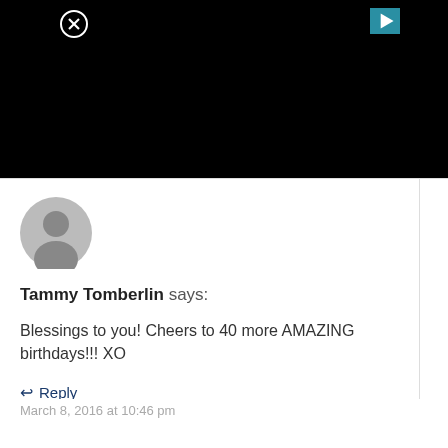[Figure (screenshot): Black video/ad bar with a close (X) button in the top-left and a teal play button in the top-right]
[Figure (illustration): Gray default user avatar icon (circle with head/shoulders silhouette)]
Tammy Tomberlin says:
Blessings to you! Cheers to 40 more AMAZING birthdays!!! XO
↩ Reply
March 8, 2016 at 10:46 pm